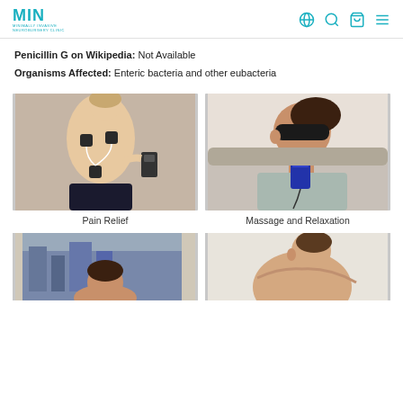MIN - Minimally Invasive Neuroburgery Clinic
Penicillin G on Wikipedia: Not Available
Organisms Affected: Enteric bacteria and other eubacteria
[Figure (photo): Man showing his back with TENS electrode pads attached, holding a device]
Pain Relief
[Figure (photo): Woman wearing a sleep/relaxation eye mask, holding a massage device]
Massage and Relaxation
[Figure (photo): Person in a gym or indoor setting with city skyline in background]
[Figure (photo): Man showing his back from behind, in a light room]